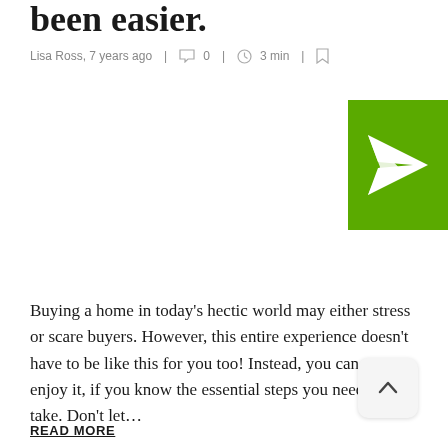been easier.
Lisa Ross, 7 years ago | 0 | 3 min |
[Figure (illustration): Green square button with a white paper airplane / send icon]
Buying a home in today’s hectic world may either stress or scare buyers. However, this entire experience doesn’t have to be like this for you too! Instead, you can get to enjoy it, if you know the essential steps you need to take. Don’t let…
READ MORE